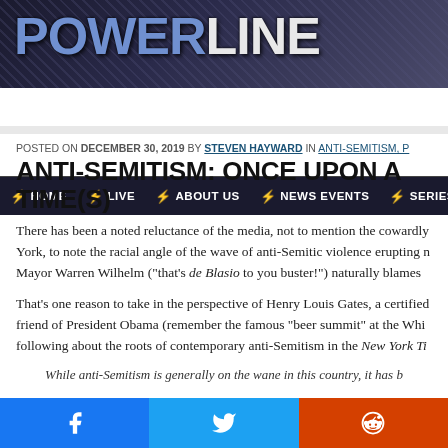POWERLINE
HOME | LIVE | ABOUT US | NEWS EVENTS | SERIES
POSTED ON DECEMBER 30, 2019 BY STEVEN HAYWARD IN ANTI-SEMITISM,
ANTI-SEMITISM: ONCE UPON A TIME(S)
There has been a noted reluctance of the media, not to mention the cowardly Mayor of New York, to note the racial angle of the wave of anti-Semitic violence erupting n... Mayor Warren Wilhelm ("that's de Blasio to you buster!") naturally blames...
That's one reason to take in the perspective of Henry Louis Gates, a certified friend of President Obama (remember the famous "beer summit" at the Whi... following about the roots of contemporary anti-Semitism in the New York Ti...
While anti-Semitism is generally on the wane in this country, it has b...